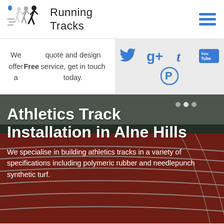[Figure (logo): Running Tracks logo with runners silhouette and location pin, with hamburger menu icon]
We offer a Free quote and design service, get in touch today.
[Figure (infographic): Social media icons: Twitter, Google+, Tumblr, YouTube, Pinterest in blue]
[Figure (photo): Athletics running track with red surface and white lane markings, aerial/ground view]
Athletics Track Installation in Alne Hills
We specialise in building athletics tracks in a variety of specifications including polymeric rubber and needlepunch synthetic turf.